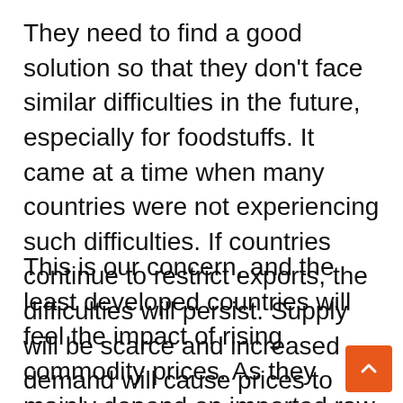They need to find a good solution so that they don't face similar difficulties in the future, especially for foodstuffs. It came at a time when many countries were not experiencing such difficulties. If countries continue to restrict exports, the difficulties will persist. Supply will be scarce and increased demand will cause prices to rise continuously.
This is our concern, and the least developed countries will feel the impact of rising commodity prices. As they mainly depend on imported raw materials, they spend more. This is why this aspect of the economy requires special attention. It is necessary to maintain a constant supply of basic products and stable prices for the well-